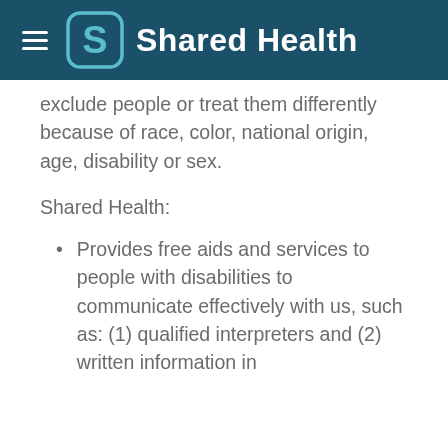Shared Health
exclude people or treat them differently because of race, color, national origin, age, disability or sex.
Shared Health:
Provides free aids and services to people with disabilities to communicate effectively with us, such as: (1) qualified interpreters and (2) written information in